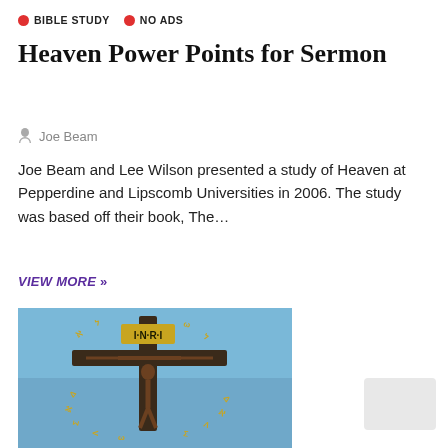BIBLE STUDY   NO ADS
Heaven Power Points for Sermon
Joe Beam
Joe Beam and Lee Wilson presented a study of Heaven at Pepperdine and Lipscomb Universities in 2006. The study was based off their book, The...
VIEW MORE »
[Figure (photo): Bronze crucifix sculpture against a blue sky, with golden lettered inscriptions arranged in a circular pattern around the cross. A sign reading INRI is visible at the top of the cross.]